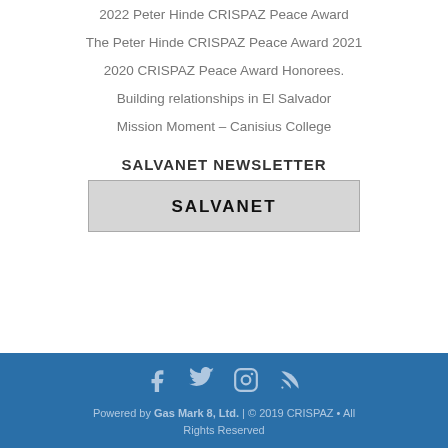2022 Peter Hinde CRISPAZ Peace Award
The Peter Hinde CRISPAZ Peace Award 2021
2020 CRISPAZ Peace Award Honorees.
Building relationships in El Salvador
Mission Moment – Canisius College
SALVANET NEWSLETTER
SALVANET
Powered by Gas Mark 8, Ltd. | © 2019 CRISPAZ • All Rights Reserved